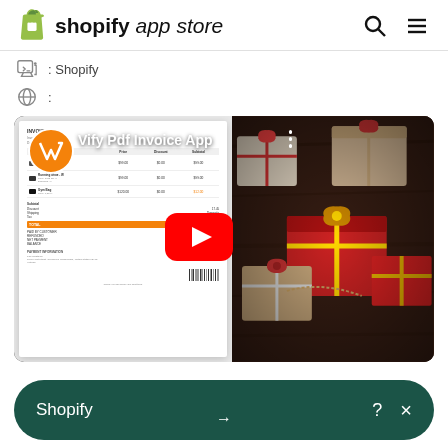shopify app store
Developer: Shopify
Category:
[Figure (screenshot): YouTube video thumbnail for 'Vify Pdf Invoice App' showing split view: left side displays a PDF invoice document on light grey background, right side shows wrapped Christmas gifts on dark wood background. A large red YouTube play button is centered. Channel icon is an orange circle with white VF logo.]
Shopify ? →  ×